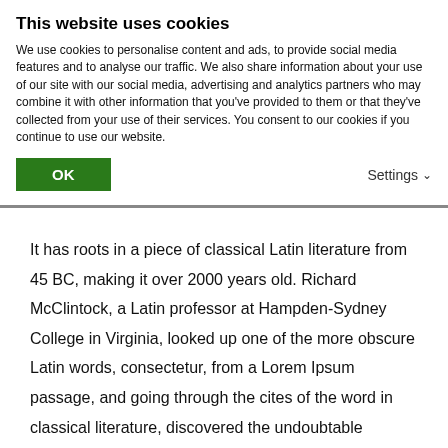This website uses cookies
We use cookies to personalise content and ads, to provide social media features and to analyse our traffic. We also share information about your use of our site with our social media, advertising and analytics partners who may combine it with other information that you've provided to them or that they've collected from your use of their services. You consent to our cookies if you continue to use our website.
OK
Settings
It has roots in a piece of classical Latin literature from 45 BC, making it over 2000 years old. Richard McClintock, a Latin professor at Hampden-Sydney College in Virginia, looked up one of the more obscure Latin words, consectetur, from a Lorem Ipsum passage, and going through the cites of the word in classical literature, discovered the undoubtable source.
Nemo enim ipsam voluptatem quia voluptas